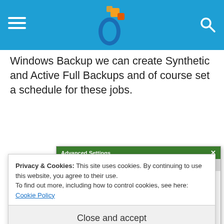Header navigation bar with hamburger menu, logo, and search icon
Windows Backup we can create Synthetic and Active Full Backups and of course set a schedule for these jobs.
[Figure (screenshot): Advanced Settings dialog box showing Backup and Storage tabs. Under Synthetic full backup section: checkbox 'Create synthetic full backups periodically' with Days... button, and 'Create on: Saturday'. Under Active full backup section: checkbox 'Create active full backups periodically' with info icon, and 'Monthly on: First | Monday | Months...' options.]
Privacy & Cookies: This site uses cookies. By continuing to use this website, you agree to their use.
To find out more, including how to control cookies, see here: Cookie Policy
Close and accept